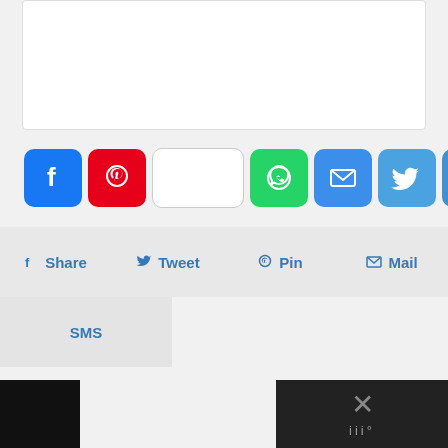[Figure (screenshot): White card/box area at top]
[Figure (infographic): Row of social share icon buttons: Facebook (blue), Pinterest (red), blank/white button, WhatsApp (green), Email (blue), Twitter (light blue), Print (blue), More/Plus (blue)]
[Figure (infographic): Share action bar with four options: Share, Tweet, Pin, Mail]
SMS
[Figure (screenshot): Bottom bar with black panel on left and dark panel on right showing an X close button and brand dots icon (resembling Mediavine logo)]